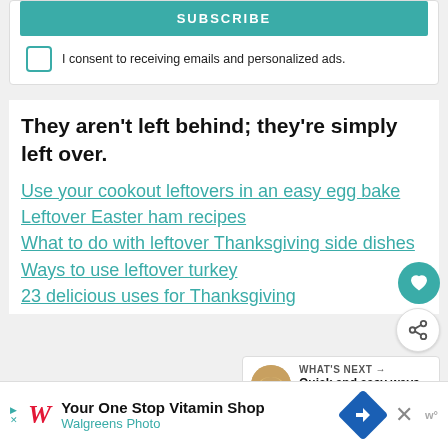SUBSCRIBE
I consent to receiving emails and personalized ads.
They aren’t left behind; they’re simply left over.
Use your cookout leftovers in an easy egg bake
Leftover Easter ham recipes
What to do with leftover Thanksgiving side dishes
Ways to use leftover turkey
23 delicious uses for Thanksgiving
[Figure (other): Heart/favorite button (teal circle with heart icon) and share button (white circle with share icon)]
[Figure (other): What's Next panel with food image thumbnail and text: Quick and easy ways t...]
[Figure (other): Walgreens ad: Your One Stop Vitamin Shop - Walgreens Photo]